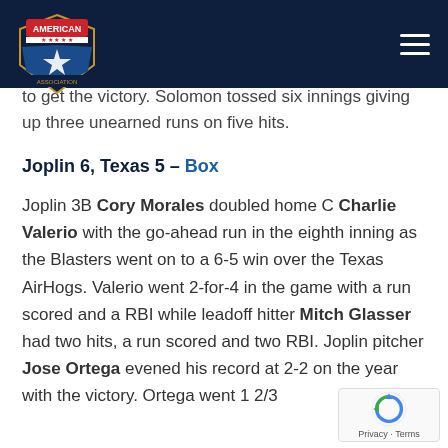American Association logo and navigation header
to get the victory. Solomon tossed six innings giving up three unearned runs on five hits.
Joplin 6, Texas 5 – Box
Joplin 3B Cory Morales doubled home C Charlie Valerio with the go-ahead run in the eighth inning as the Blasters went on to a 6-5 win over the Texas AirHogs. Valerio went 2-for-4 in the game with a run scored and a RBI while leadoff hitter Mitch Glasser had two hits, a run scored and two RBI. Joplin pitcher Jose Ortega evened his record at 2-2 on the year with the victory. Ortega went 1 2/3